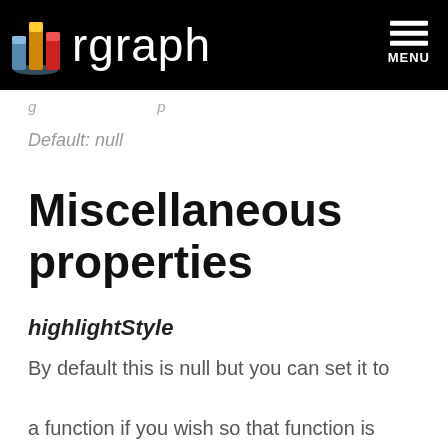rgraph MENU
…g… …p…
Default: null
Miscellaneous properties
highlightStyle
By default this is null but you can set it to a function if you wish so that function is